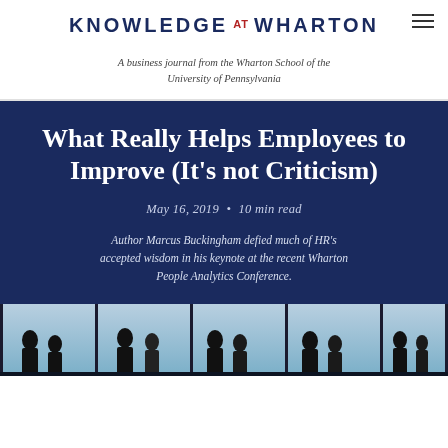KNOWLEDGE AT WHARTON
A business journal from the Wharton School of the University of Pennsylvania
What Really Helps Employees to Improve (It's not Criticism)
May 16, 2019 • 10 min read
Author Marcus Buckingham defied much of HR's accepted wisdom in his keynote at the recent Wharton People Analytics Conference.
[Figure (photo): Silhouettes of business people in an office environment with large windows, shown in panels/segments]